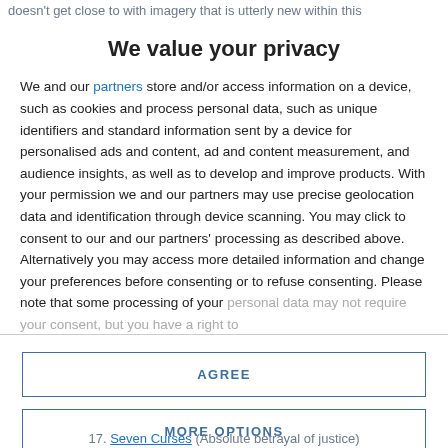doesn't get close to with imagery that is utterly new within this
We value your privacy
We and our partners store and/or access information on a device, such as cookies and process personal data, such as unique identifiers and standard information sent by a device for personalised ads and content, ad and content measurement, and audience insights, as well as to develop and improve products. With your permission we and our partners may use precise geolocation data and identification through device scanning. You may click to consent to our and our partners' processing as described above. Alternatively you may access more detailed information and change your preferences before consenting or to refuse consenting. Please note that some processing of your personal data may not require your consent, but you have a right to
AGREE
MORE OPTIONS
17. Seven Curses (Absolute betrayal of justice)